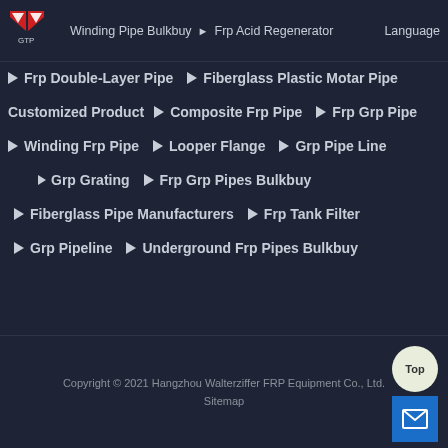Winding Pipe Bulkbuy ▶ Frp Acid Regenerator Language
▶ Frp Double-Layer Pipe   ▶ Fiberglass Plastic Motar Pipe
Customized Product   ▶ Composite Frp Pipe   ▶ Frp Grp Pipe
▶ Winding Frp Pipe   ▶ Looper Flange   ▶ Grp Pipe Line
▶ Grp Grating   ▶ Frp Grp Pipes Bulkbuy
▶ Fiberglass Pipe Manufacturers   ▶ Frp Tank Filter
▶ Grp Pipeline   ▶ Underground Frp Pipes Bulkbuy
Copyright © 2021 Hangzhou Walterziffer FRP Equipment Co., Ltd.
Sitemap